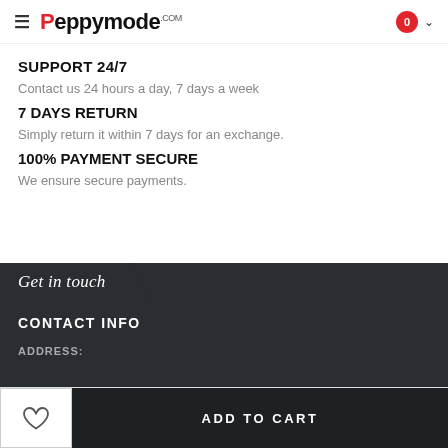Peppymode.com
SUPPORT 24/7
Contact us 24 hours a day, 7 days a week
7 DAYS RETURN
Simply return it within 7 days for an exchange.
100% PAYMENT SECURE
We ensure secure payments.
Get in touch
CONTACT INFO
ADDRESS: